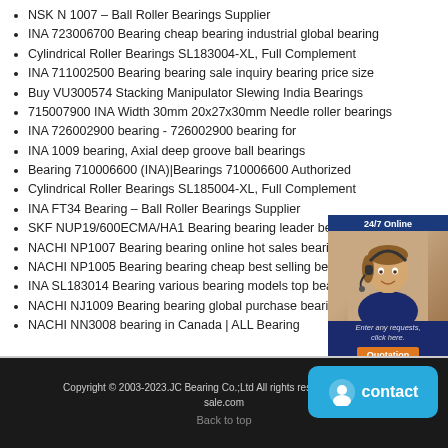NSK N 1007 – Ball Roller Bearings Supplier
INA 723006700 Bearing cheap bearing industrial global bearing
Cylindrical Roller Bearings SL183004-XL, Full Complement
INA 711002500 Bearing bearing sale inquiry bearing price size
Buy VU300574 Stacking Manipulator Slewing India Bearings
715007900 INA Width 30mm 20x27x30mm Needle roller bearings
INA 726002900 bearing - 726002900 bearing for
INA 1009 bearing, Axial deep groove ball bearings
Bearing 710006600 (INA)|Bearings 710006600 Authorized
Cylindrical Roller Bearings SL185004-XL, Full Complement
INA FT34 Bearing – Ball Roller Bearings Supplier
SKF NUP19/600ECMA/HA1 Bearing bearing leader bearing ind...
NACHI NP1007 Bearing bearing online hot sales bearing
NACHI NP1005 Bearing bearing cheap best selling bearing
INA SL183014 Bearing various bearing models top bearing
NACHI NJ1009 Bearing bearing global purchase bearing low price
NACHI NN3008 bearing in Canada | ALL Bearing
[Figure (photo): Chat widget showing a woman with headset, '24/7 Online' label, 'Enter any requests, click here.' text, and an orange Quotation button]
Copyright © 2003-2023.JC Bearing Co.;Ltd All rights reserved. | bearing-sale.com
Back to top